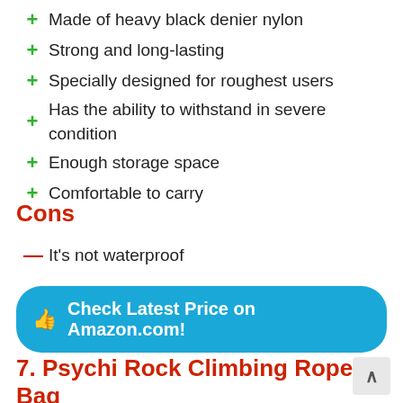Made of heavy black denier nylon
Strong and long-lasting
Specially designed for roughest users
Has the ability to withstand in severe condition
Enough storage space
Comfortable to carry
Cons
It's not waterproof
Check Latest Price on Amazon.com!
7. Psychi Rock Climbing Rope Bag